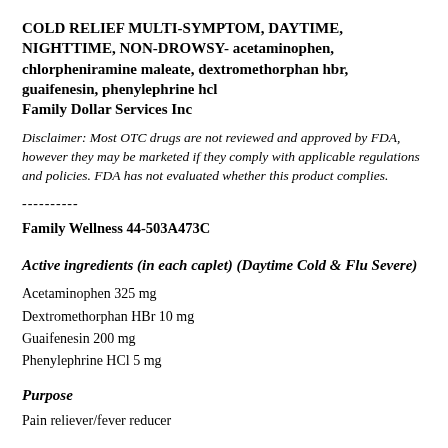COLD RELIEF MULTI-SYMPTOM, DAYTIME, NIGHTTIME, NON-DROWSY- acetaminophen, chlorpheniramine maleate, dextromethorphan hbr, guaifenesin, phenylephrine hcl
Family Dollar Services Inc
Disclaimer: Most OTC drugs are not reviewed and approved by FDA, however they may be marketed if they comply with applicable regulations and policies. FDA has not evaluated whether this product complies.
----------
Family Wellness 44-503A473C
Active ingredients (in each caplet) (Daytime Cold & Flu Severe)
Acetaminophen 325 mg
Dextromethorphan HBr 10 mg
Guaifenesin 200 mg
Phenylephrine HCl 5 mg
Purpose
Pain reliever/fever reducer